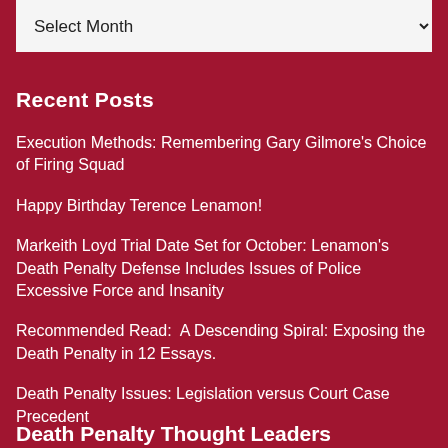Recent Posts
Execution Methods: Remembering Gary Gilmore's Choice of Firing Squad
Happy Birthday Terence Lenamon!
Markeith Loyd Trial Date Set for October: Lenamon's Death Penalty Defense Includes Issues of Police Excessive Force and Insanity
Recommended Read:  A Descending Spiral: Exposing the Death Penalty in 12 Essays.
Death Penalty Issues: Legislation versus Court Case Precedent
Death Penalty Thought Leaders